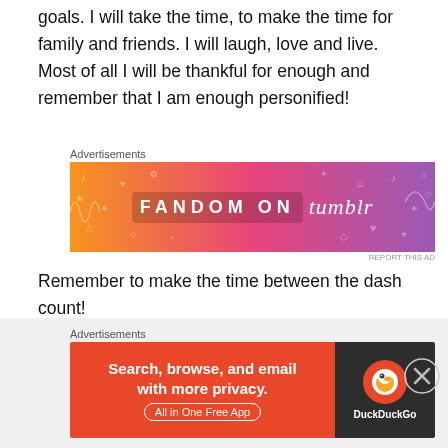I will continue to dream my dreams and chase my goals. I will take the time, to make the time for family and friends. I will laugh, love and live. Most of all I will be thankful for enough and remember that I am enough personified!
[Figure (screenshot): Fandom on Tumblr advertisement banner with orange-to-purple gradient and decorative doodles]
Remember to make the time between the dash count!
~Micaiah
[Figure (screenshot): DuckDuckGo advertisement: Search, browse, and email with more privacy. All in One Free App.]